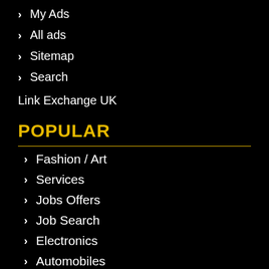My Ads
All ads
Sitemap
Search
Link Exchange UK
POPULAR
Fashion / Art
Services
Jobs Offers
Job Search
Electronics
Automobiles